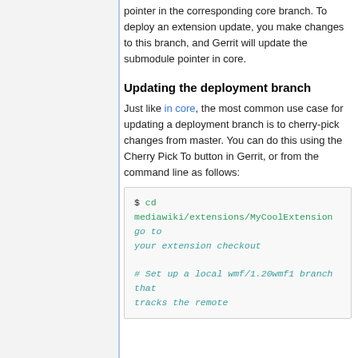pointer in the corresponding core branch. To deploy an extension update, you make changes to this branch, and Gerrit will update the submodule pointer in core.
Updating the deployment branch
Just like in core, the most common use case for updating a deployment branch is to cherry-pick changes from master. You can do this using the Cherry Pick To button in Gerrit, or from the command line as follows:
$ cd mediawiki/extensions/MyCoolExtension     # go to your extension checkout

# Set up a local wmf/1.20wmf1 branch that tracks the remote